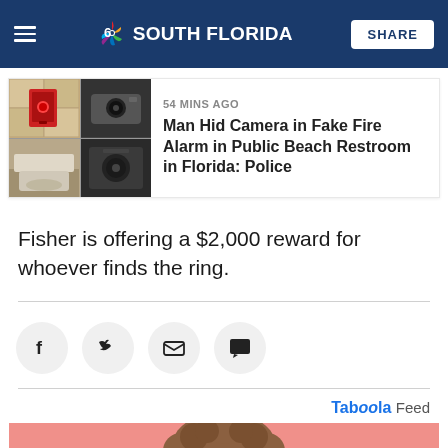NBC 6 South Florida — SHARE
[Figure (screenshot): NBC 6 South Florida news website header with logo and SHARE button on dark blue background]
[Figure (photo): Related article thumbnail showing fire alarm and bathroom camera equipment in a 2x2 grid]
54 MINS AGO
Man Hid Camera in Fake Fire Alarm in Public Beach Restroom in Florida: Police
Fisher is offering a $2,000 reward for whoever finds the ring.
[Figure (infographic): Social share buttons: Facebook, Twitter, Email, Comment — circular gray buttons]
Taboola Feed
[Figure (photo): Taboola ad image showing a woman with curly hair on a pink background]